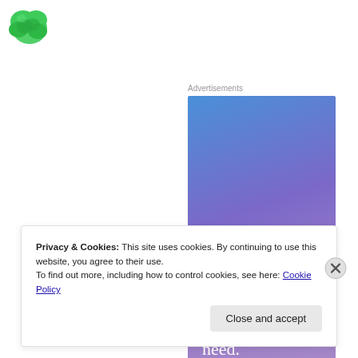[Figure (logo): Green leaf/flower logo mark in top left corner]
Advertisements
[Figure (illustration): Advertisement banner with blue-to-purple gradient background and white serif text reading: Simplified pricing for everything you need.]
Privacy & Cookies: This site uses cookies. By continuing to use this website, you agree to their use.
To find out more, including how to control cookies, see here: Cookie Policy
Close and accept